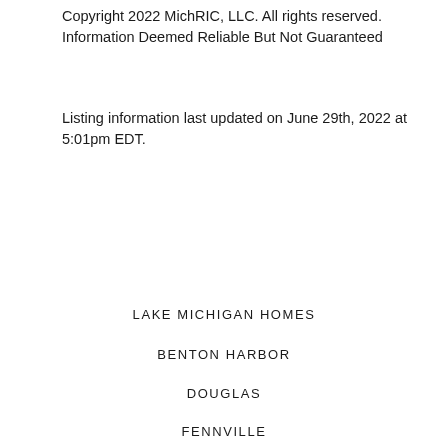Copyright 2022 MichRIC, LLC. All rights reserved. Information Deemed Reliable But Not Guaranteed
Listing information last updated on June 29th, 2022 at 5:01pm EDT.
LAKE MICHIGAN HOMES
BENTON HARBOR
DOUGLAS
FENNVILLE